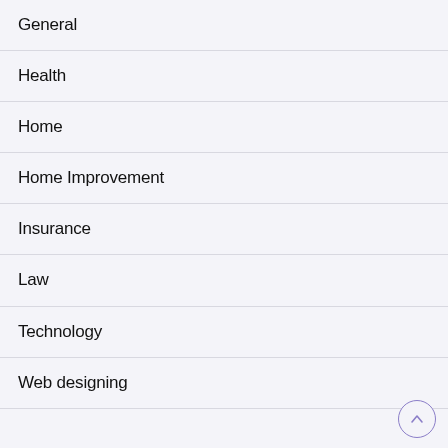General
Health
Home
Home Improvement
Insurance
Law
Technology
Web designing